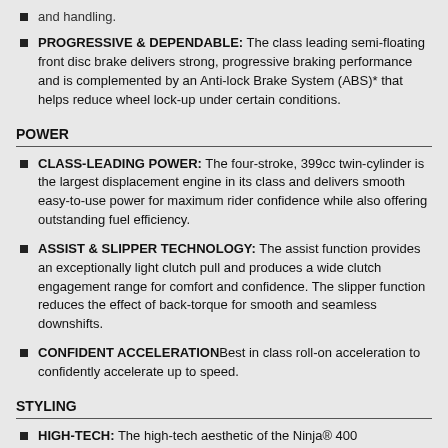and handling.
PROGRESSIVE & DEPENDABLE: The class leading semi-floating front disc brake delivers strong, progressive braking performance and is complemented by an Anti-lock Brake System (ABS)* that helps reduce wheel lock-up under certain conditions.
POWER
CLASS-LEADING POWER: The four-stroke, 399cc twin-cylinder is the largest displacement engine in its class and delivers smooth easy-to-use power for maximum rider confidence while also offering outstanding fuel efficiency.
ASSIST & SLIPPER TECHNOLOGY: The assist function provides an exceptionally light clutch pull and produces a wide clutch engagement range for comfort and confidence. The slipper function reduces the effect of back-torque for smooth and seamless downshifts.
CONFIDENT ACCELERATIONBest in class roll-on acceleration to confidently accelerate up to speed.
STYLING
HIGH-TECH: The high-tech aesthetic of the Ninja® 400...